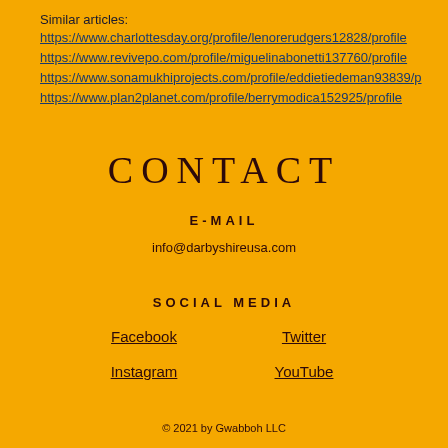Similar articles:
https://www.charlottesday.org/profile/lenorerudgers12828/profile
https://www.revivepo.com/profile/miguelinabonetti137760/profile
https://www.sonamukhiprojects.com/profile/eddietiedeman93839/p
https://www.plan2planet.com/profile/berrymodica152925/profile
CONTACT
E-MAIL
info@darbyshireusa.com
SOCIAL MEDIA
Facebook    Twitter    Instagram    YouTube
© 2021 by Gwabboh LLC